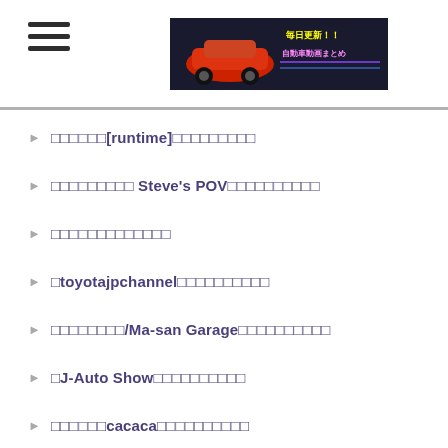[hamburger menu] [banner: 毎日更新!! 自動車動画まとめ]
□□□□□□[runtime]□□□□□□□□□
□□□□□□□□□ Steve's POV□□□□□□□□□□
□□□□□□□□□□□□□
□toyotajpchannel□□□□□□□□□□
□□□□□□□□/Ma-san Garage□□□□□□□□□□
□J-Auto Show□□□□□□□□□□
□□□□□□cacaca□□□□□□□□□□
□Mikasu-Channel□□□□□□□□□□
□L'OPERAIO Channel